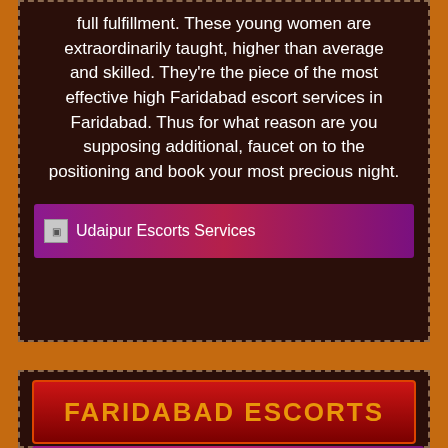full fulfillment. These young women are extraordinarily taught, higher than average and skilled. They're the piece of the most effective high Faridabad escort services in Faridabad. Thus for what reason are you supposing additional, faucet on to the positioning and book your most precious night.
[Figure (other): Banner image with gradient purple-red background, small image placeholder icon, and text 'Udaipur Escorts Services']
[Figure (other): Red gradient banner with orange bold text reading 'FARIDABAD ESCORTS']
[Figure (other): Banner image with gradient purple-red background, small image placeholder icon, and text 'Call Girls in Faridabad']